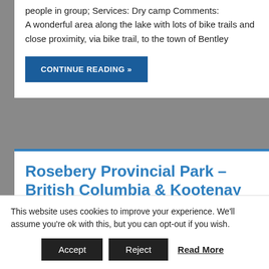people in group; Services: Dry camp Comments: A wonderful area along the lake with lots of bike trails and close proximity, via bike trail, to the town of Bentley
CONTINUE READING »
Rosebery Provincial Park – British Columbia & Kootenay Lake Ferry
This website uses cookies to improve your experience. We'll assume you're ok with this, but you can opt-out if you wish.
Accept | Reject | Read More